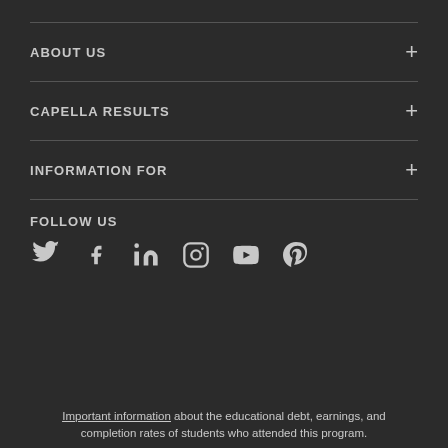ABOUT US
CAPELLA RESULTS
INFORMATION FOR
FOLLOW US
[Figure (other): Social media icons: Twitter, Facebook, LinkedIn, Instagram, YouTube, Pinterest]
Important information about the educational debt, earnings, and completion rates of students who attended this program.